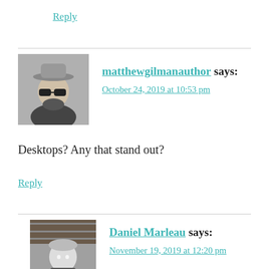Reply
matthewgilmanauthor says:
October 24, 2019 at 10:53 pm
Desktops? Any that stand out?
Reply
Daniel Marleau says:
November 19, 2019 at 12:20 pm
This post covers some of this:
https://typewriterreview.com/2017/05/12/tit